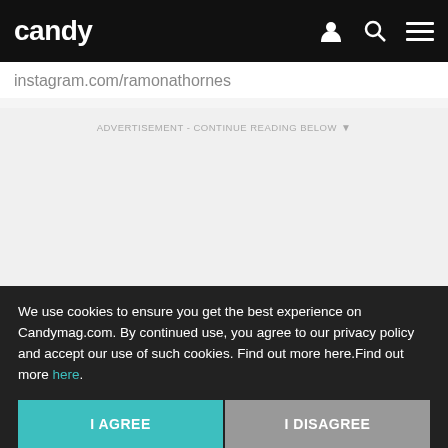candy
instagram.com/ramonathornes
ADVERTISEMENT - CONTINUE READING BELOW
[Figure (other): Read on App button — pink rounded rectangle with white text 'Read on App']
We use cookies to ensure you get the best experience on Candymag.com. By continued use, you agree to our privacy policy and accept our use of such cookies. Find out more here.Find out more here.
I AGREE
I DISAGREE